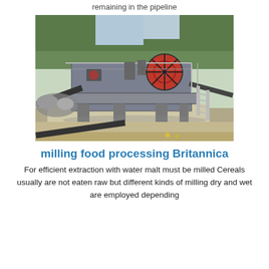remaining in the pipeline
[Figure (photo): Industrial milling/crushing machine equipment outdoors, with large red flywheel, conveyor belts, metal framework structure, stairs, and forested hillside in background.]
milling food processing Britannica
For efficient extraction with water malt must be milled Cereals usually are not eaten raw but different kinds of milling dry and wet are employed depending